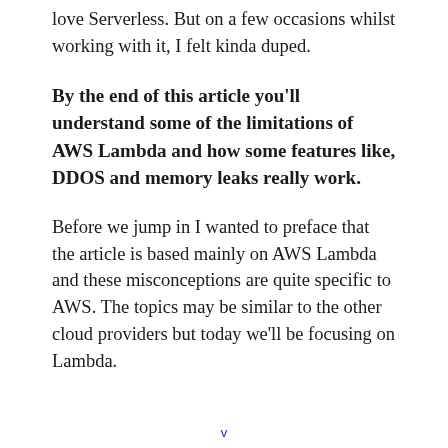love Serverless. But on a few occasions whilst working with it, I felt kinda duped.
By the end of this article you'll understand some of the limitations of AWS Lambda and how some features like, DDOS and memory leaks really work.
Before we jump in I wanted to preface that the article is based mainly on AWS Lambda and these misconceptions are quite specific to AWS. The topics may be similar to the other cloud providers but today we'll be focusing on Lambda.
v